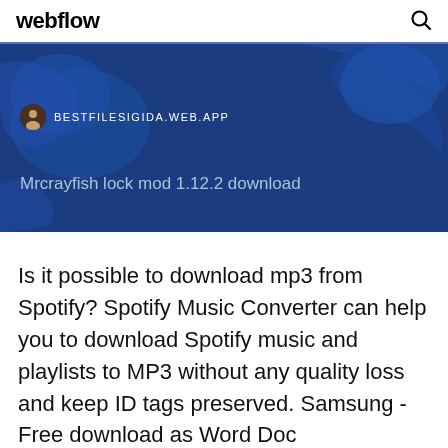webflow
[Figure (screenshot): Dark blue hero image with a map background, showing a URL bar with icon and text BESTFILESIGIDA.WEB.APP, and a subtitle reading 'Mrcrayfish lock mod 1.12.2 download']
Is it possible to download mp3 from Spotify? Spotify Music Converter can help you to download Spotify music and playlists to MP3 without any quality loss and keep ID tags preserved. Samsung - Free download as Word Doc